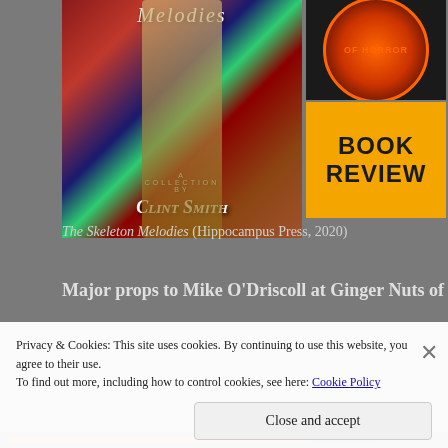[Figure (photo): Composite book cover image: left side shows 'The Skeleton Melodies' book cover with a skeleton spine illustration, text 'A COLLECTION BY Clint Smith' on dark horror-themed background. Top right shows a circular horror badge/logo with 'OF HORROR' text. Bottom right shows an orange rectangle with 'BOOK REVIEW' in bold black text.]
The Skeleton Melodies (Hippocampus Press, 2020)
Major props to Mike O'Driscoll at Ginger Nuts of
Privacy & Cookies: This site uses cookies. By continuing to use this website, you agree to their use.
To find out more, including how to control cookies, see here: Cookie Policy
Close and accept